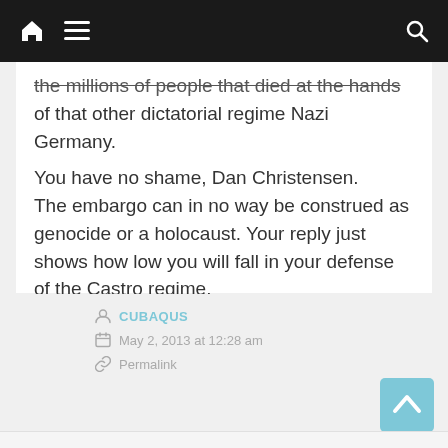Navigation bar with home, menu, and search icons
the millions of people that died at the hands of that other dictatorial regime Nazi Germany.
You have no shame, Dan Christensen.
The embargo can in no way be construed as genocide or a holocaust. Your reply just shows how low you will fall in your defense of the Castro regime.
CUBAQUS
May 2, 2013 at 12:28 am
Permalink